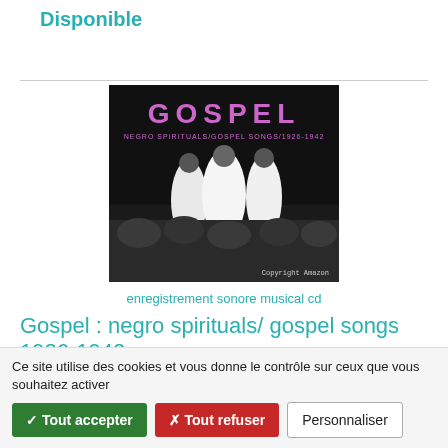Disponible
[Figure (photo): Album cover for 'Gospel: Negro Spirituals / Gospel Songs 1926-1942'. Dark background with text 'GOSPEL' in large pink/purple letters and subtitle 'NEGRO SPIRITUALS/GOSPEL SONGS/1926-1942'. Below is a black and white photograph of choir singers in robes with conductors. Copyright Amazon watermark at bottom right.]
enregistrement sonore musical cd
Gospel : negro spirituals/ gospel songs 1926-1942
Anthologies ; Blind Willie Johnson ; Mahalia Jackson ; Bessie Smith ; Louis Armstrong ; Charioteers ; Golden gate quartet ; Sister Rosetta Tharpe | Frémeaux & Associés |
Ce site utilise des cookies et vous donne le contrôle sur ceux que vous souhaitez activer
✓ Tout accepter
✗ Tout refuser
Personnaliser